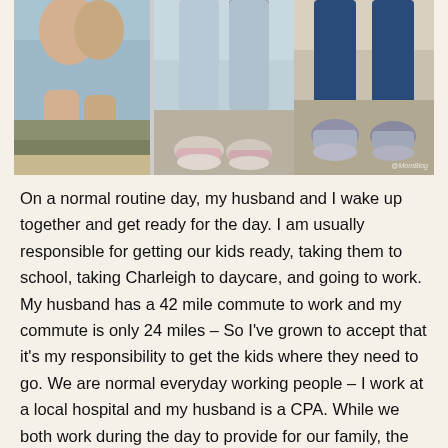[Figure (photo): Three-panel photo strip showing children's legs and feet. Left panel: toddler legs in a diaper/shorts on grass. Middle panel: child's feet wearing pink/white sneakers on pavement. Right panel: child's feet wearing blue sandals on pavement with a watermark overlay.]
On a normal routine day, my husband and I wake up together and get ready for the day. I am usually responsible for getting our kids ready, taking them to school, taking Charleigh to daycare, and going to work. My husband has a 42 mile commute to work and my commute is only 24 miles – So I've grown to accept that it's my responsibility to get the kids where they need to go. We are normal everyday working people – I work at a local hospital and my husband is a CPA. While we both work during the day to provide for our family, the majority of our time spent outside of work is all family and all about our kids. Our daughter plays softball while our